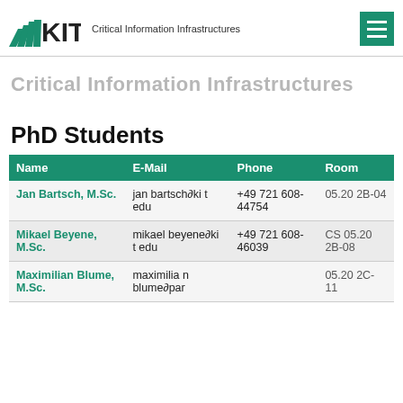KIT Critical Information Infrastructures
Critical Information Infrastructures
PhD Students
| Name | E-Mail | Phone | Room |
| --- | --- | --- | --- |
| Jan Bartsch, M.Sc. | jan bartsch∂kit edu | +49 721 608-44754 | 05.20 2B-04 |
| Mikael Beyene, M.Sc. | mikael beyene∂kit edu | +49 721 608-46039 | CS 05.20 2B-08 |
| Maximilian Blume, M.Sc. | maximilian blume∂par |  | 05.20 2C-11 |